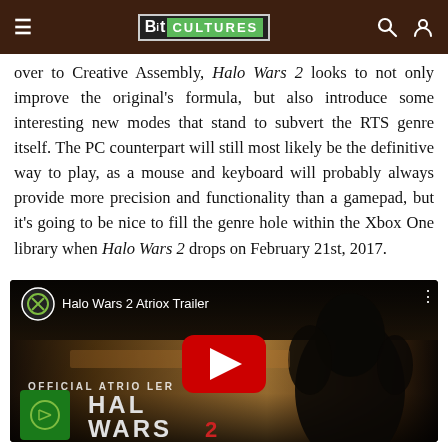≡  BitCultures  🔍  👤
over to Creative Assembly, Halo Wars 2 looks to not only improve the original's formula, but also introduce some interesting new modes that stand to subvert the RTS genre itself. The PC counterpart will still most likely be the definitive way to play, as a mouse and keyboard will probably always provide more precision and functionality than a gamepad, but it's going to be nice to fill the genre hole within the Xbox One library when Halo Wars 2 drops on February 21st, 2017.
[Figure (screenshot): YouTube embedded video thumbnail for 'Halo Wars 2 Atriox Trailer' showing a dark battlefield scene with a large armored figure silhouetted against an orange-brown landscape. Text on screen reads 'OFFICIAL ATRIOX TRAILER' and 'HALO WARS 2'. Red YouTube play button in center. Xbox logo icons visible.]